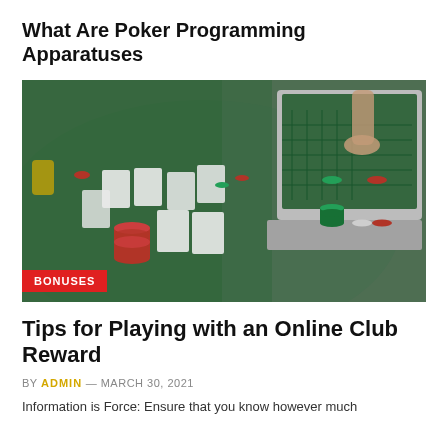What Are Poker Programming Apparatuses
[Figure (photo): Casino poker table with cards and chips, with a laptop showing online casino gambling. A BONUSES label appears at the bottom left.]
Tips for Playing with an Online Club Reward
BY ADMIN — MARCH 30, 2021
Information is Force: Ensure that you know however much